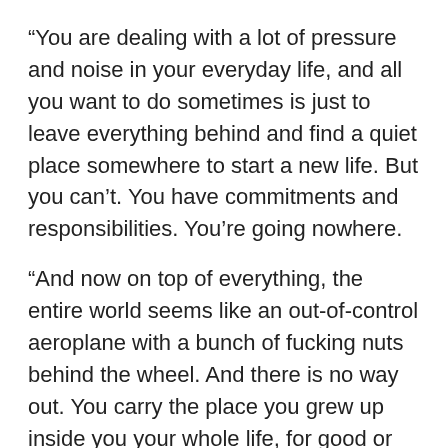“You are dealing with a lot of pressure and noise in your everyday life, and all you want to do sometimes is just to leave everything behind and find a quiet place somewhere to start a new life. But you can’t. You have commitments and responsibilities. You’re going nowhere.
“And now on top of everything, the entire world seems like an out-of-control aeroplane with a bunch of fucking nuts behind the wheel. And there is no way out. You carry the place you grew up inside you your whole life, for good or bad. Vestli is the name of the suburban borough in the north-eastern part of Oslo where both Stian and I grew up. You can leave